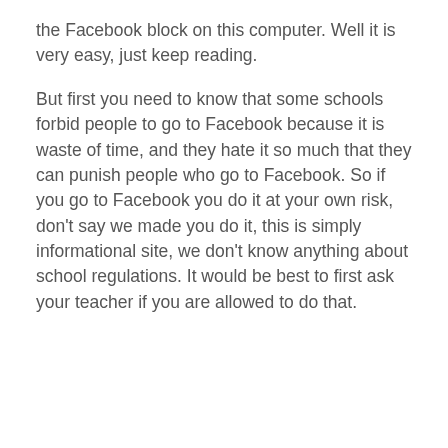the Facebook block on this computer. Well it is very easy, just keep reading.
But first you need to know that some schools forbid people to go to Facebook because it is waste of time, and they hate it so much that they can punish people who go to Facebook. So if you go to Facebook you do it at your own risk, don't say we made you do it, this is simply informational site, we don't know anything about school regulations. It would be best to first ask your teacher if you are allowed to do that.